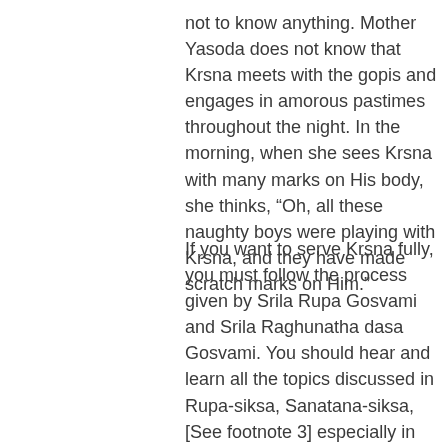not to know anything. Mother Yasoda does not know that Krsna meets with the gopis and engages in amorous pastimes throughout the night. In the morning, when she sees Krsna with many marks on His body, she thinks, “Oh, all these naughty boys were playing with Krsna, and they have made scratch marks on Him.”
If you want to serve Krsna fully, you must follow the process given by Srila Rupa Gosvami and Srila Raghunatha dasa Gosvami. You should hear and learn all the topics discussed in Rupa-siksa, Sanatana-siksa, [See footnote 3] especially in Ramanandasamvada, and still more than that, here in Ratha-yatra-prasanga, the topics of Ratha-yatra.